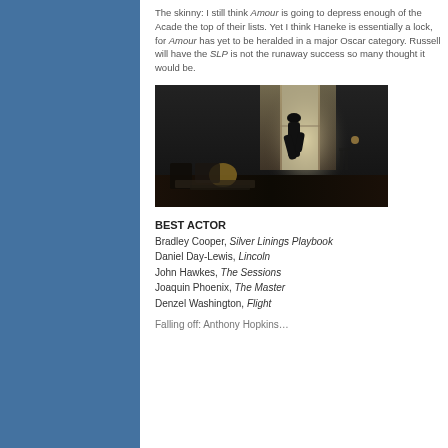The skinny: I still think Amour is going to depress enough of the Acade… the top of their lists. Yet I think Haneke is essentially a lock, for Amour… has yet to be heralded in a major Oscar category. Russell will have the… SLP is not the runaway success so many thought it would be.
[Figure (photo): A dark, moody interior scene showing a silhouette of a person standing in front of a bright window with curtains, with a table and objects in the foreground.]
BEST ACTOR
Bradley Cooper, Silver Linings Playbook
Daniel Day-Lewis, Lincoln
John Hawkes, The Sessions
Joaquin Phoenix, The Master
Denzel Washington, Flight
Falling off: Anthony Hopkins…